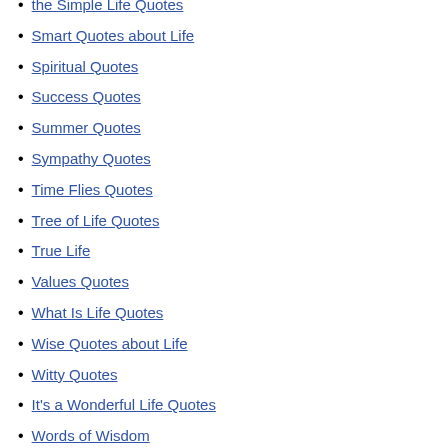the Simple Life Quotes
Smart Quotes about Life
Spiritual Quotes
Success Quotes
Summer Quotes
Sympathy Quotes
Time Flies Quotes
Tree of Life Quotes
True Life
Values Quotes
What Is Life Quotes
Wise Quotes about Life
Witty Quotes
It's a Wonderful Life Quotes
Words of Wisdom
Work Life Balance Quotes